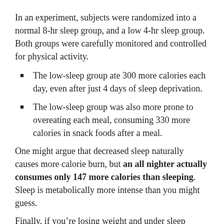In an experiment, subjects were randomized into a normal 8-hr sleep group, and a low 4-hr sleep group. Both groups were carefully monitored and controlled for physical activity.
The low-sleep group ate 300 more calories each day, even after just 4 days of sleep deprivation.
The low-sleep group was also more prone to overeating each meal, consuming 330 more calories in snack foods after a meal.
One might argue that decreased sleep naturally causes more calorie burn, but an all nighter actually consumes only 147 more calories than sleeping. Sleep is metabolically more intense than you might guess.
Finally, if you’re losing weight and under sleep deprivation, the shift of where you lose the weight from differs. When sleep deprived, 70% of weight loss…